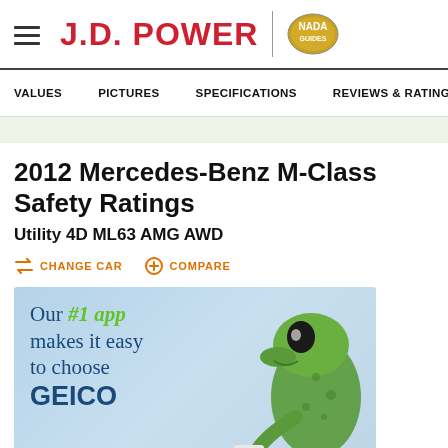J.D. POWER
VALUES
PICTURES
SPECIFICATIONS
REVIEWS & RATINGS
2012 Mercedes-Benz M-Class Safety Ratings
Utility 4D ML63 AMG AWD
CHANGE CAR   COMPARE
[Figure (photo): GEICO advertisement showing a gecko lizard with text: Our #1 app makes it easy to choose GEICO]